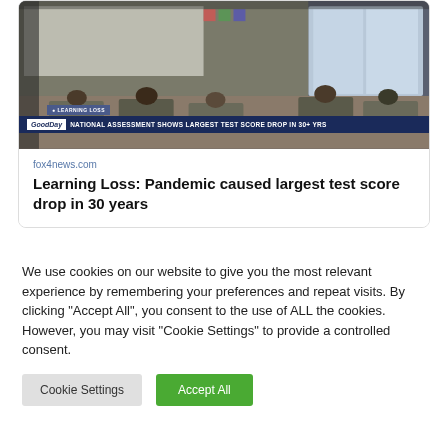[Figure (screenshot): News broadcast screenshot showing a classroom scene through a window. Students are seated at desks. A news ticker at the bottom reads 'GoodDay | NATIONAL ASSESSMENT SHOWS LARGEST TEST SCORE DROP IN 30+ YRS' with a 'LEARNING LOSS' tag above it.]
fox4news.com
Learning Loss: Pandemic caused largest test score drop in 30 years
We use cookies on our website to give you the most relevant experience by remembering your preferences and repeat visits. By clicking "Accept All", you consent to the use of ALL the cookies. However, you may visit "Cookie Settings" to provide a controlled consent.
Cookie Settings
Accept All